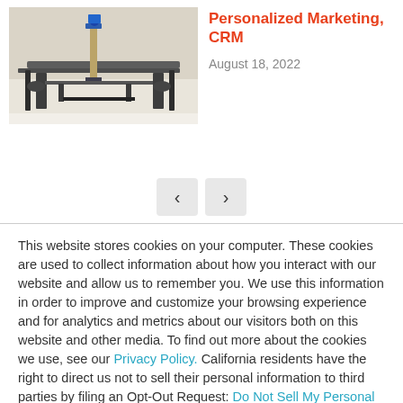[Figure (photo): Photo of industrial/manufacturing equipment — robotic arm or CNC machine with mechanical components on a white background]
Personalized Marketing, CRM
August 18, 2022
This website stores cookies on your computer. These cookies are used to collect information about how you interact with our website and allow us to remember you. We use this information in order to improve and customize your browsing experience and for analytics and metrics about our visitors both on this website and other media. To find out more about the cookies we use, see our Privacy Policy. California residents have the right to direct us not to sell their personal information to third parties by filing an Opt-Out Request: Do Not Sell My Personal Info.